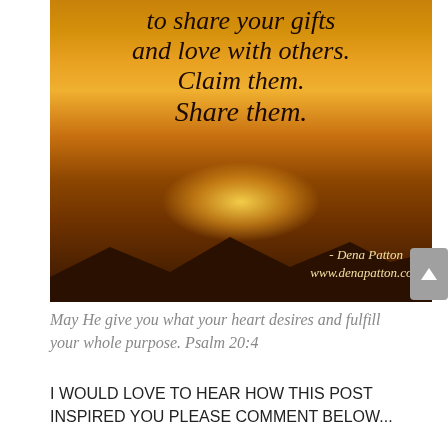[Figure (photo): Inspirational quote image over a sunset/golden sky background with mountain silhouette. Text reads: 'to share your gifts and love with others. Claim them. Share them.' Attribution: - Dena Patton, www.denapatton.com]
May He give you what your heart desires and fulfill your whole purpose.  Psalm 20:4
I WOULD LOVE TO HEAR HOW THIS POST INSPIRED YOU PLEASE COMMENT BELOW...